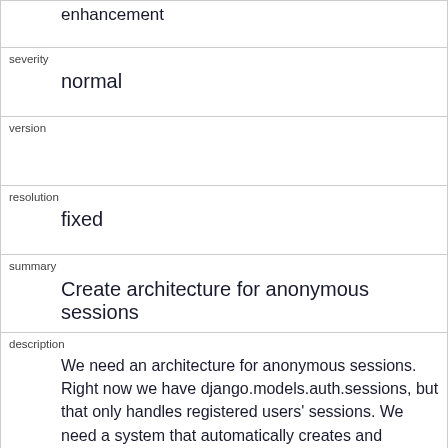| enhancement |
| severity | normal |
| version |  |
| resolution | fixed |
| summary | Create architecture for anonymous sessions |
| description | We need an architecture for anonymous sessions. Right now we have django.models.auth.sessions, but that only handles registered users' sessions. We need a system that automatically creates and manages sessions for anonymous users.

Here's one idea for this:

 * In the settings file, you define a {{{SESSION_MODULE}}} string, like the |